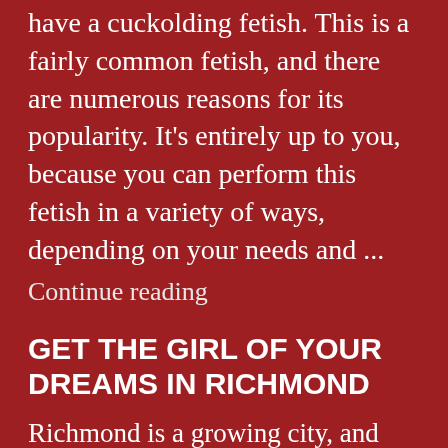have a cuckolding fetish. This is a fairly common fetish, and there are numerous reasons for its popularity. It's entirely up to you, because you can perform this fetish in a variety of ways, depending on your needs and ...
Continue reading
GET THE GIRL OF YOUR DREAMS IN RICHMOND
Richmond is a growing city, and over time, the number of residents living outstation has grown. IT hubs and